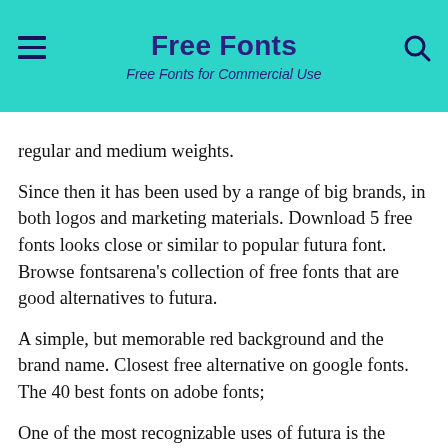Free Fonts — Free Fonts for Commercial Use
regular and medium weights.
Since then it has been used by a range of big brands, in both logos and marketing materials. Download 5 free fonts looks close or similar to popular futura font. Browse fontsarena's collection of free fonts that are good alternatives to futura.
A simple, but memorable red background and the brand name. Closest free alternative on google fonts. The 40 best fonts on adobe fonts;
One of the most recognizable uses of futura is the supreme logo. 16mar web fonts cheat sheet: There's great attention to detail in the design of this font.
For general use, we're going to focus on alternatives to futura medium, which is probably the most tame of the bunch, and